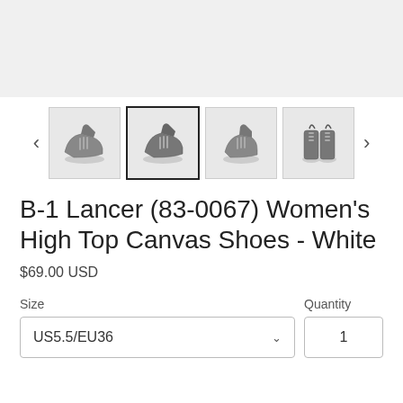[Figure (photo): Main product image area - light gray placeholder for shoe photo]
[Figure (photo): Thumbnail gallery row with 4 shoe images: left side view, front angled view (selected), right side view, back view. Navigation arrows on left and right.]
B-1 Lancer (83-0067) Women's High Top Canvas Shoes - White
$69.00 USD
Size
Quantity
US5.5/EU36
1